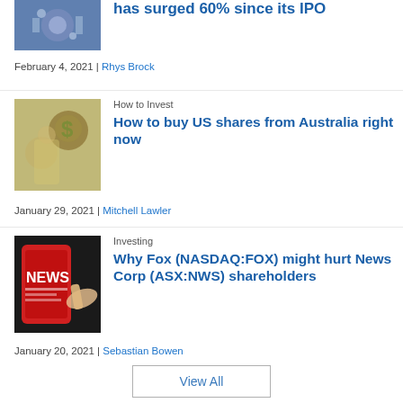[Figure (photo): Tech/digital themed thumbnail image (partially visible at top)]
has surged 60% since its IPO
February 4, 2021 | Rhys Brock
How to Invest
[Figure (photo): Woman thinking with money bag graphic]
How to buy US shares from Australia right now
January 29, 2021 | Mitchell Lawler
Investing
[Figure (photo): News app on phone, hand pointing at screen]
Why Fox (NASDAQ:FOX) might hurt News Corp (ASX:NWS) shareholders
January 20, 2021 | Sebastian Bowen